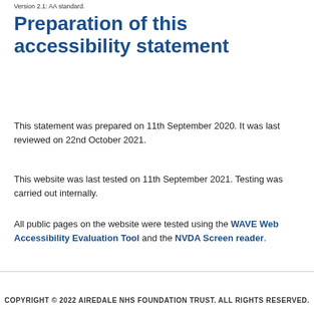Version 2.1: AA standard.
Preparation of this accessibility statement
This statement was prepared on 11th September 2020. It was last reviewed on 22nd October 2021.
This website was last tested on 11th September 2021. Testing was carried out internally.
All public pages on the website were tested using the WAVE Web Accessibility Evaluation Tool and the NVDA Screen reader.
COPYRIGHT © 2022 AIREDALE NHS FOUNDATION TRUST. ALL RIGHTS RESERVED.